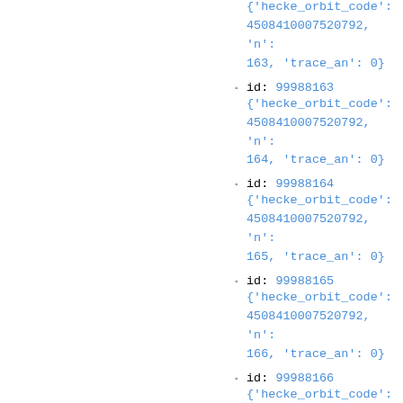id: 99988163 {'hecke_orbit_code': 4508410007520792, 'n': 163, 'trace_an': 0}
id: 99988163 {'hecke_orbit_code': 4508410007520792, 'n': 164, 'trace_an': 0}
id: 99988164 {'hecke_orbit_code': 4508410007520792, 'n': 165, 'trace_an': 0}
id: 99988165 {'hecke_orbit_code': 4508410007520792, 'n': 166, 'trace_an': 0}
id: 99988166 {'hecke_orbit_code': 4508410007520792, 'n': 167, 'trace_an': 0}
id: 99988167